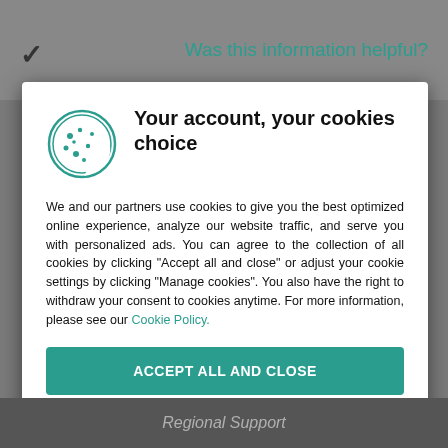Was this information helpful?
[Figure (illustration): Cookie consent dialog with cookie icon, title, body text, and two buttons]
Your account, your cookies choice
We and our partners use cookies to give you the best optimized online experience, analyze our website traffic, and serve you with personalized ads. You can agree to the collection of all cookies by clicking "Accept all and close" or adjust your cookie settings by clicking "Manage cookies". You also have the right to withdraw your consent to cookies anytime. For more information, please see our Cookie Policy.
ACCEPT ALL AND CLOSE
MANAGE COOKIES
Regional Support